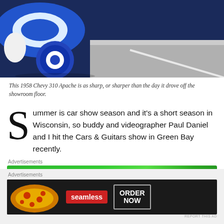[Figure (photo): Close-up photo of a classic car wheel/tire area, showing blue and white painted trim, likely a 1958 Chevy 310 Apache, on pavement.]
This 1958 Chevy 310 Apache is as sharp, or sharper than the day it drove off the showroom floor.
Summer is car show season and it’s a short season in Wisconsin, so buddy and videographer Paul Daniel and I hit the Cars & Guitars show in Green Bay recently.
[Figure (screenshot): Jetpack advertisement banner: green background with Jetpack logo and 'Back up your site' button.]
The awesome Automobile Gallery on Crooks Street in
[Figure (screenshot): Seamless food delivery advertisement with pizza image, seamless logo in red, and 'ORDER NOW' button.]